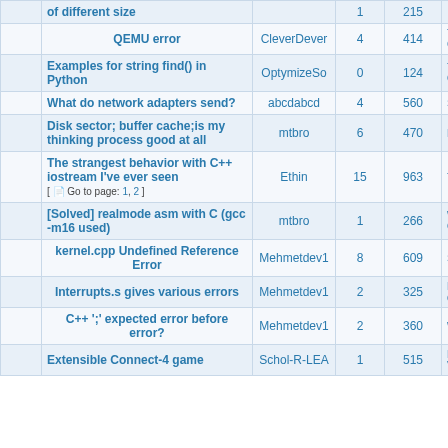|  | Topic | Author | Replies | Views | Last Post |
| --- | --- | --- | --- | --- | --- |
|  | of different size |  | 1 | 215 |  |
|  | QEMU error | CleverDever | 4 | 414 | Tue Jun Cl |
|  | Examples for string find() in Python | OptymizeSo | 0 | 124 | Tue Jun Op |
|  | What do network adapters send? | abcdabcd | 4 | 560 | Sat Jun |
|  | Disk sector; buffer cache;is my thinking process good at all | mtbro | 6 | 470 | Mon Ma |
|  | The strangest behavior with C++ iostream I've ever seen [ Go to page: 1, 2 ] | Ethin | 15 | 963 | Thu Ma |
|  | [Solved] realmode asm with C (gcc -m16 used) | mtbro | 1 | 266 | Wed Ma Octo |
|  | kernel.cpp Undefined Reference Error | Mehmetdev1 | 8 | 609 | Sun May |
|  | Interrupts.s gives various errors | Mehmetdev1 | 2 | 325 | Fri May da |
|  | C++ ';' expected error before error? | Mehmetdev1 | 2 | 360 | Wed Ma |
|  | Extensible Connect-4 game | Schol-R-LEA | 1 | 515 | Mon Ma V |